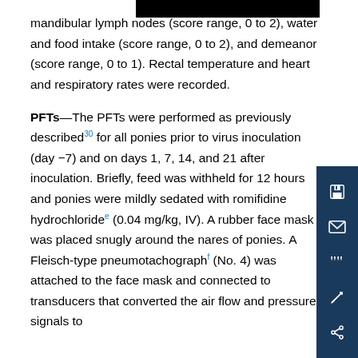mandibular lymph nodes (score range, 0 to 2), water and food intake (score range, 0 to 2), and demeanor (score range, 0 to 1). Rectal temperature and heart and respiratory rates were recorded.
PFTs—The PFTs were performed as previously described[30] for all ponies prior to virus inoculation (day −7) and on days 1, 7, 14, and 21 after inoculation. Briefly, feed was withheld for 12 hours and ponies were mildly sedated with romifidine hydrochloride[e] (0.04 mg/kg, IV). A rubber face mask was placed snugly around the nares of ponies. A Fleisch-type pneumotachograph[f] (No. 4) was attached to the face mask and connected to transducers that converted the air flow and pressure signals to